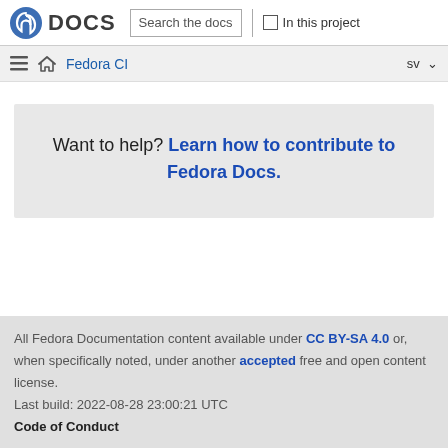DOCS | Search the docs | In this project
Fedora CI  sv
Want to help? Learn how to contribute to Fedora Docs.
All Fedora Documentation content available under CC BY-SA 4.0 or, when specifically noted, under another accepted free and open content license.
Last build: 2022-08-28 23:00:21 UTC
Code of Conduct